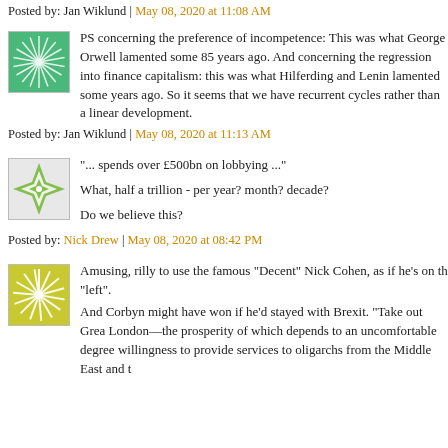Posted by: Jan Wiklund | May 08, 2020 at 11:08 AM
PS concerning the preference of incompetence: This was what George Orwell lamented some 85 years ago. And concerning the regression into finance capitalism: this was what Hilferding and Lenin lamented some years ago. So it seems that we have recurrent cycles rather than a linear development.
Posted by: Jan Wiklund | May 08, 2020 at 11:13 AM
"... spends over £500bn on lobbying ..."
What, half a trillion - per year? month? decade?
Do we believe this?
Posted by: Nick Drew | May 08, 2020 at 08:42 PM
Amusing, rilly to use the famous "Decent" Nick Cohen, as if he's on the "left". And Corbyn might have won if he'd stayed with Brexit. "Take out Greater London—the prosperity of which depends to an uncomfortable degree on its willingness to provide services to oligarchs from the Middle East and t